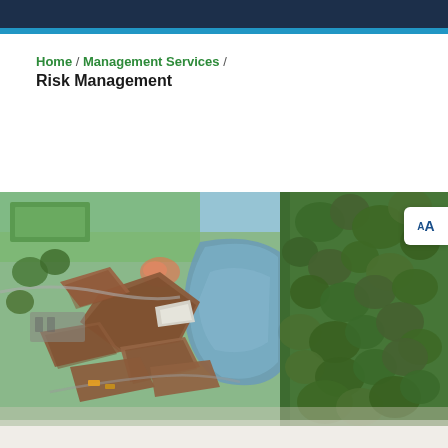Home / Management Services / Risk Management
Risk Management
[Figure (photo): Aerial drone photograph of a flooded residential and commercial area near a lake surrounded by forest, showing rooftops, parking lots, and flooded waterways from above.]
[Figure (other): AA font size accessibility button overlay in top right corner of the photo]